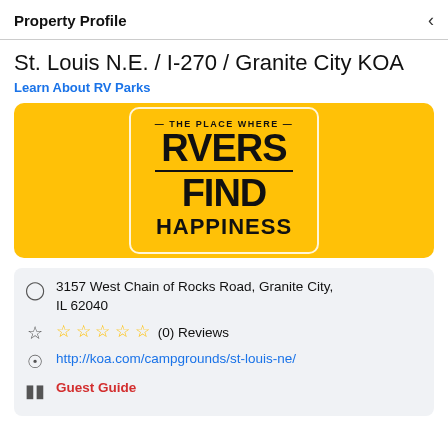Property Profile
St. Louis N.E. / I-270 / Granite City KOA
Learn About RV Parks
[Figure (logo): KOA yellow banner logo with text: THE PLACE WHERE RVERS FIND HAPPINESS]
3157 West Chain of Rocks Road, Granite City, IL 62040
☆☆☆☆☆ (0) Reviews
http://koa.com/campgrounds/st-louis-ne/
Guest Guide